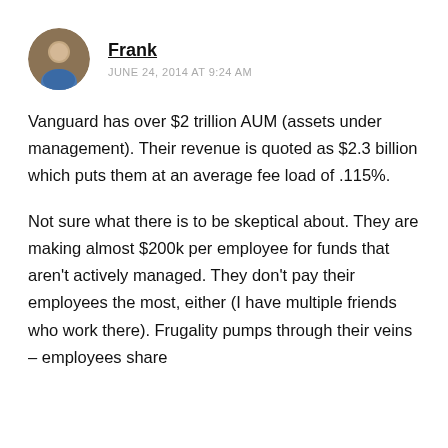Frank
JUNE 24, 2014 AT 9:24 AM
Vanguard has over $2 trillion AUM (assets under management). Their revenue is quoted as $2.3 billion which puts them at an average fee load of .115%.
Not sure what there is to be skeptical about. They are making almost $200k per employee for funds that aren't actively managed. They don't pay their employees the most, either (I have multiple friends who work there). Frugality pumps through their veins – employees share